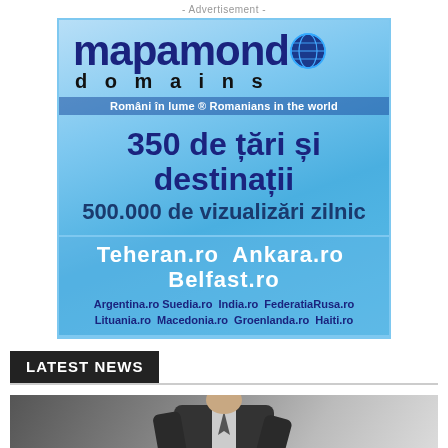- Advertisement -
[Figure (illustration): Mapamond Domains advertisement banner. Blue gradient background with globe icon. Text includes 'mapamond domains', 'Români în lume ® Romanians in the world', '350 de țări și destinații', '500.000 de vizualizări zilnic', 'Teheran.ro Ankara.ro Belfast.ro', 'Argentina.ro Suedia.ro India.ro FederatiaRusa.ro', 'Lituania.ro Macedonia.ro Groenlanda.ro Haiti.ro']
LATEST NEWS
[Figure (photo): Partial view of a person in a dark suit, appears to be holding something, cropped at bottom of page]